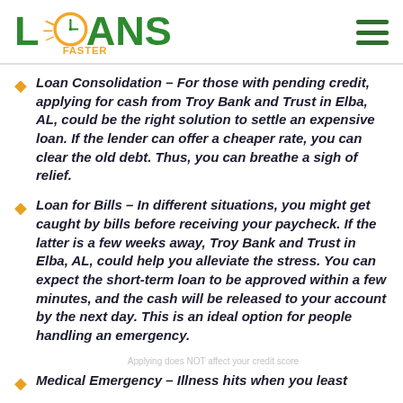LOANS FASTER
Loan Consolidation – For those with pending credit, applying for cash from Troy Bank and Trust in Elba, AL, could be the right solution to settle an expensive loan. If the lender can offer a cheaper rate, you can clear the old debt. Thus, you can breathe a sigh of relief.
Loan for Bills – In different situations, you might get caught by bills before receiving your paycheck. If the latter is a few weeks away, Troy Bank and Trust in Elba, AL, could help you alleviate the stress. You can expect the short-term loan to be approved within a few minutes, and the cash will be released to your account by the next day. This is an ideal option for people handling an emergency.
Medical Emergency – Illness hits when you least